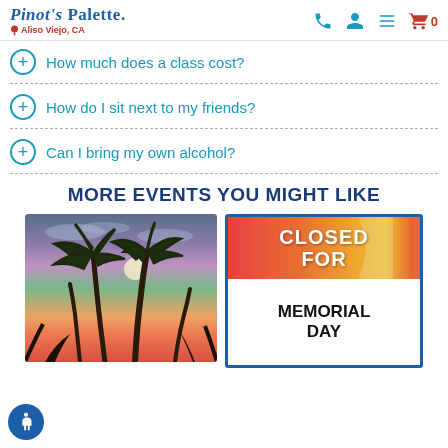Pinot's Palette — Aliso Viejo, CA
How much does a class cost?
How do I sit next to my friends?
Can I bring my own alcohol?
MORE EVENTS YOU MIGHT LIKE
[Figure (photo): Painting of palm trees silhouetted against a colorful sunset/moonrise sky]
[Figure (infographic): Closed for Memorial Day notice card with red/orange gradient top and white bottom section]